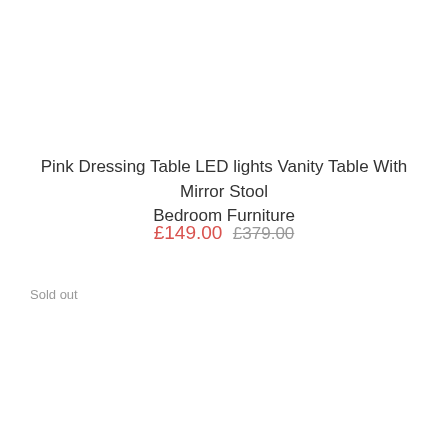Pink Dressing Table LED lights Vanity Table With Mirror Stool Bedroom Furniture
£149.00  £379.00
Sold out